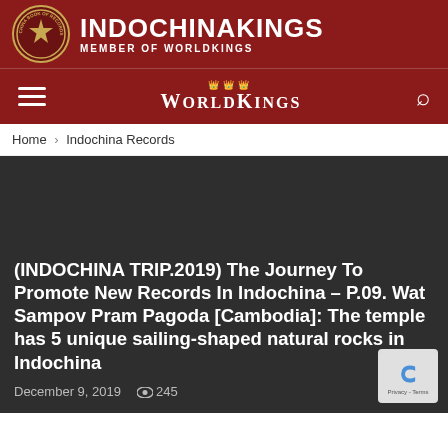INDOCHINAKINGS MEMBER OF WORLDKINGS
WORLDKINGS
Home › Indochina Records
[Figure (photo): Dark background article image area]
(INDOCHINA TRIP.2019) The Journey To Promote New Records In Indochina – P.09. Wat Sampov Pram Pagoda [Cambodia]: The temple has 5 unique sailing-shaped natural rocks in Indochina
December 9, 2019  👁 245